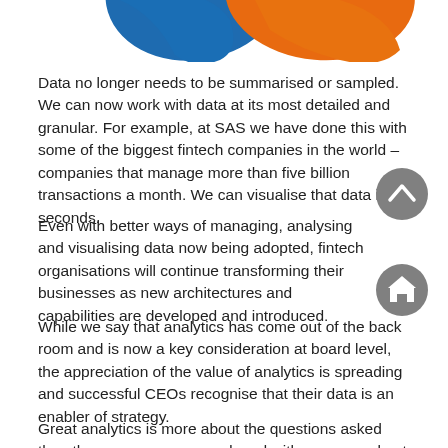[Figure (logo): Partial SAS logo — blue and orange curved shapes visible at top of page]
Data no longer needs to be summarised or sampled. We can now work with data at its most detailed and granular. For example, at SAS we have done this with some of the biggest fintech companies in the world – companies that manage more than five billion transactions a month. We can visualise that data in seconds.
Even with better ways of managing, analysing and visualising data now being adopted, fintech organisations will continue transforming their businesses as new architectures and capabilities are developed and introduced.
While we say that analytics has come out of the back room and is now a key consideration at board level, the appreciation of the value of analytics is spreading and successful CEOs recognise that their data is an enabler of strategy.
Great analytics is more about the questions asked than the answers uncovered, and with more people at different levels